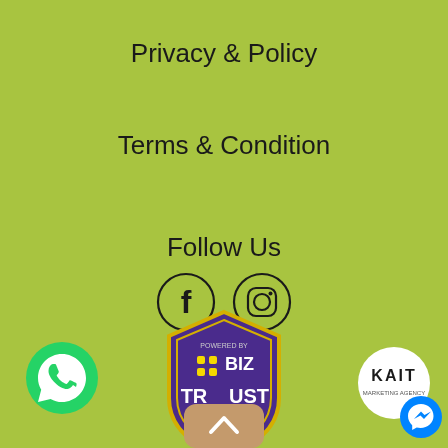Privacy & Policy
Terms & Condition
Follow Us
[Figure (illustration): Social media icons: Facebook and Instagram circular outline icons]
[Figure (logo): BizTrust shield logo with purple background and yellow border, showing dots grid and text BIZ TRUST]
[Figure (logo): WhatsApp green circular button with white phone icon]
[Figure (logo): KAIT white circular logo]
[Figure (logo): Scroll up button - tan/brown rounded rectangle with up arrow]
[Figure (logo): Facebook Messenger circular blue icon]